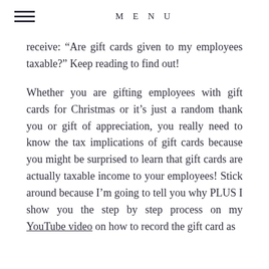MENU
receive: “Are gift cards given to my employees taxable?” Keep reading to find out!
Whether you are gifting employees with gift cards for Christmas or it’s just a random thank you or gift of appreciation, you really need to know the tax implications of gift cards because you might be surprised to learn that gift cards are actually taxable income to your employees! Stick around because I’m going to tell you why PLUS I show you the step by step process on my YouTube video on how to record the gift card as